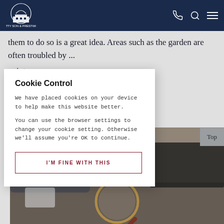Petty Son & Prestwich
them to do so is a great idea. Areas such as the garden are often troubled by ... maintenance as ... and minimising ... for.
[Figure (screenshot): Interior room photo visible behind cookie consent modal, showing a living room with magnifying glass in foreground]
Cookie Control
We have placed cookies on your device to help make this website better.
You can use the browser settings to change your cookie setting. Otherwise we'll assume you're OK to continue.
I'M FINE WITH THIS